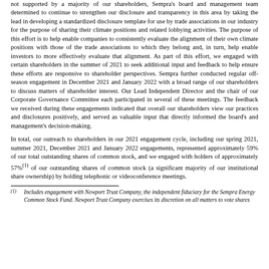not supported by a majority of our shareholders, Sempra's board and management team determined to continue to strengthen our disclosure and transparency in this area by taking the lead in developing a standardized disclosure template for use by trade associations in our industry for the purpose of sharing their climate positions and related lobbying activities. The purpose of this effort is to help enable companies to consistently evaluate the alignment of their own climate positions with those of the trade associations to which they belong and, in turn, help enable investors to more effectively evaluate that alignment. As part of this effort, we engaged with certain shareholders in the summer of 2021 to seek additional input and feedback to help ensure these efforts are responsive to shareholder perspectives. Sempra further conducted regular off-season engagement in December 2021 and January 2022 with a broad range of our shareholders to discuss matters of shareholder interest. Our Lead Independent Director and the chair of our Corporate Governance Committee each participated in several of these meetings. The feedback we received during these engagements indicated that overall our shareholders view our practices and disclosures positively, and served as valuable input that directly informed the board's and management's decision-making.
In total, our outreach to shareholders in our 2021 engagement cycle, including our spring 2021, summer 2021, December 2021 and January 2022 engagements, represented approximately 59% of our total outstanding shares of common stock, and we engaged with holders of approximately 57%(1) of our outstanding shares of common stock (a significant majority of our institutional share ownership) by holding telephonic or videoconference meetings.
(1) Includes engagement with Newport Trust Company, the independent fiduciary for the Sempra Energy Common Stock Fund. Newport Trust Company exercises its discretion on all matters to vote shares